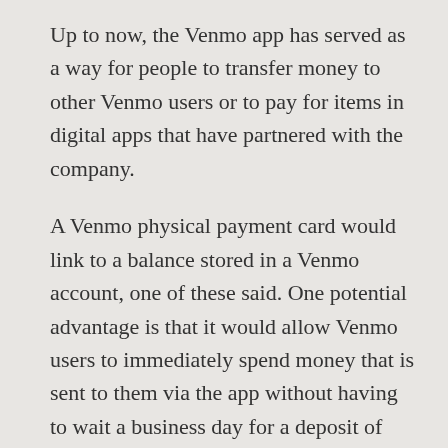Up to now, the Venmo app has served as a way for people to transfer money to other Venmo users or to pay for items in digital apps that have partnered with the company.
A Venmo physical payment card would link to a balance stored in a Venmo account, one of these said. One potential advantage is that it would allow Venmo users to immediately spend money that is sent to them via the app without having to wait a business day for a deposit of those funds to appear in their bank account.
For Venmo and its parent company